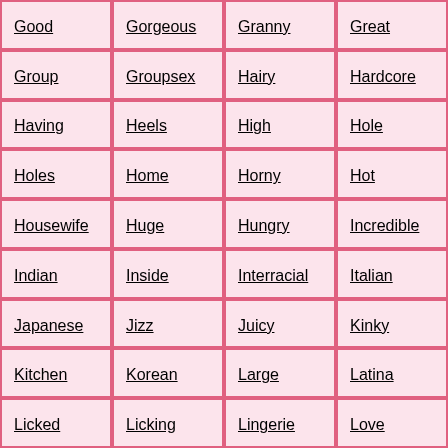| Good | Gorgeous | Granny | Great |
| Group | Groupsex | Hairy | Hardcore |
| Having | Heels | High | Hole |
| Holes | Home | Horny | Hot |
| Housewife | Huge | Hungry | Incredible |
| Indian | Inside | Interracial | Italian |
| Japanese | Jizz | Juicy | Kinky |
| Kitchen | Korean | Large | Latina |
| Licked | Licking | Lingerie | Love |